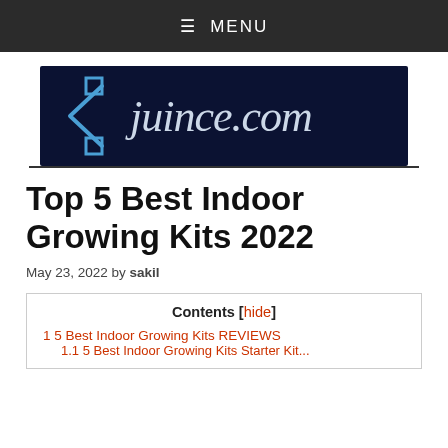≡ MENU
[Figure (logo): juince.com logo with dark navy background, blue angle-bracket arrow icon on left, and cursive white text reading juince.com]
Top 5 Best Indoor Growing Kits 2022
May 23, 2022 by sakil
| Contents [hide] |
| --- |
| 1 5 Best Indoor Growing Kits REVIEWS |
| 1.1 5 Best Indoor Growing Kits Starter Kit... |